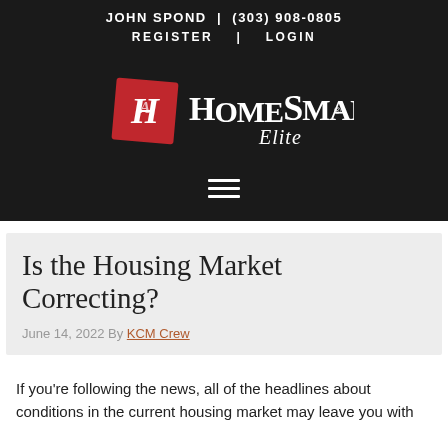JOHN SPOND | (303) 908-0805
REGISTER | LOGIN
[Figure (logo): HomeSmart Elite logo — red diamond shape with stylized 'H' monogram, white text 'HomeSmart' in bold serif, 'Elite' in script below]
Is the Housing Market Correcting?
June 14, 2022 By KCM Crew
If you're following the news, all of the headlines about conditions in the current housing market may leave you with